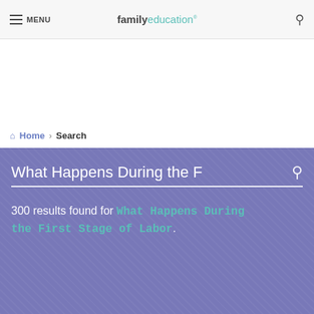MENU | familyeducation
Home › Search
What Happens During the F [search input]
300 results found for What Happens During the First Stage of Labor.